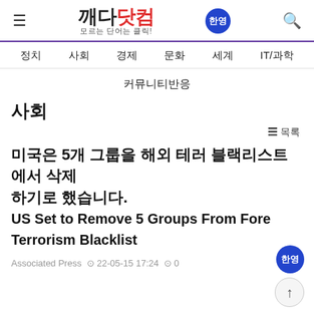깨다닷컴 모르는 단어는 클릭! 한영
정치 사회 경제 문화 세계 IT/과학
커뮤니티반응
사회
≡ 목록
미국은 5개 그룹을 해외 테러 블랙리스트에서 삭제하기로 했습니다.
US Set to Remove 5 Groups From Foreign Terrorism Blacklist
Associated Press ⊙ 22-05-15 17:24 ⊙ 0